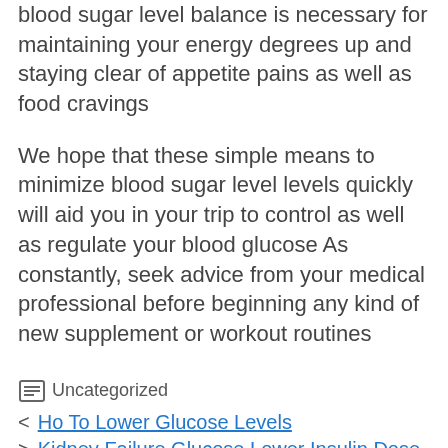blood sugar level balance is necessary for maintaining your energy degrees up and staying clear of appetite pains as well as food cravings
We hope that these simple means to minimize blood sugar level levels quickly will aid you in your trip to control as well as regulate your blood glucose As constantly, seek advice from your medical professional before beginning any kind of new supplement or workout routines
Uncategorized
Ho To Lower Glucose Levels
Kidney Failure Glucose Lower Insulin Dose